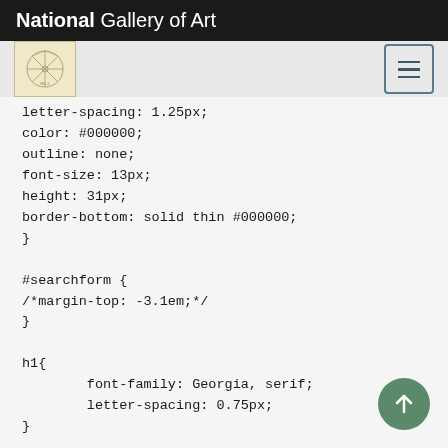National Gallery of Art
[Figure (screenshot): Navigation bar with art logo and hamburger menu button on grey background]
letter-spacing: 1.25px;
color: #000000;
outline: none;
font-size: 13px;
height: 31px;
border-bottom: solid thin #000000;
}

#searchform {
/*margin-top: -3.1em;*/
}

h1{
        font-family: Georgia, serif;
        letter-spacing: 0.75px;
}